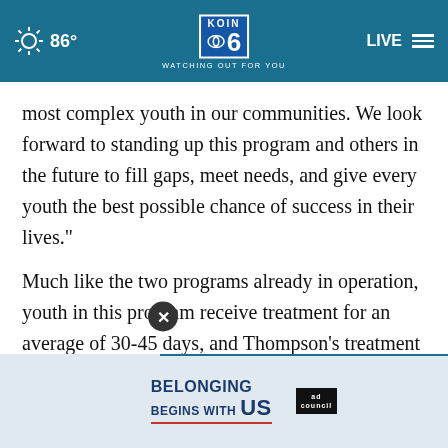86° KOIN 6 CBS WATCHING OUT FOR YOU LIVE
most complex youth in our communities. We look forward to standing up this program and others in the future to fill gaps, meet needs, and give every youth the best possible chance of success in their lives."
Much like the two programs already in operation, youth in this program receive treatment for an average of 30-45 days, and Thompson's treatment team will part with the y e outcomes for the youth served. The new
[Figure (other): Advertisement banner: 'BELONGING BEGINS WITH US' with Ad Council logo, overlaid with a close (X) button]